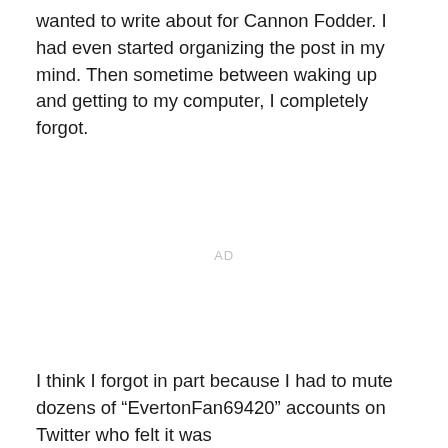wanted to write about for Cannon Fodder. I had even started organizing the post in my mind. Then sometime between waking up and getting to my computer, I completely forgot.
AD
I think I forgot in part because I had to mute dozens of “EvertonFan69420” accounts on Twitter who felt it was